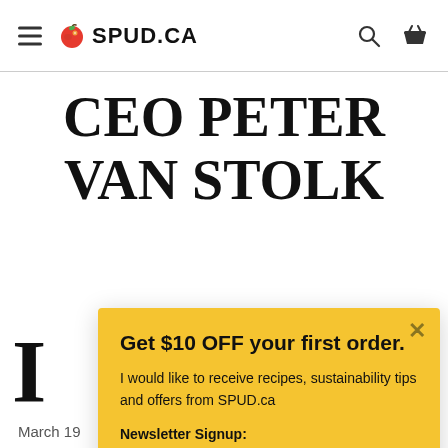SPUD.CA
CEO PETER VAN STOLK
Get $10 OFF your first order. I would like to receive recipes, sustainability tips and offers from SPUD.ca. Newsletter Signup: Your email address Sign up
March 19